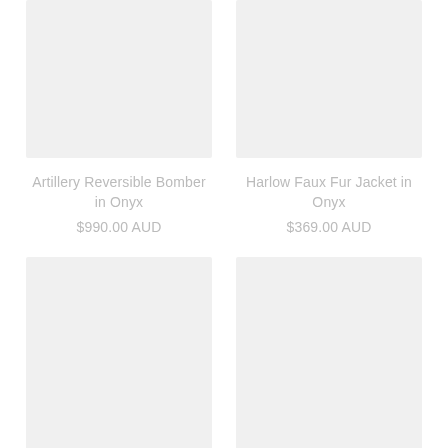[Figure (photo): Product image placeholder for Artillery Reversible Bomber in Onyx - light grey rectangle]
Artillery Reversible Bomber in Onyx
$990.00 AUD
[Figure (photo): Product image placeholder for Harlow Faux Fur Jacket in Onyx - light grey rectangle]
Harlow Faux Fur Jacket in Onyx
$369.00 AUD
[Figure (photo): Product image placeholder - light grey rectangle, bottom left]
[Figure (photo): Product image placeholder - light grey rectangle, bottom right]